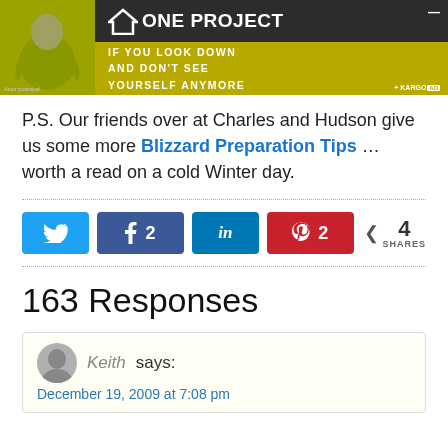[Figure (photo): Advertisement banner for 'One Project' featuring a person in a yellow shirt with arms crossed and text 'IF YOU LOOK DOWN AND DON'T SEE YOURSELF ANYMORE'. Includes Kargo Ad label.]
P.S. Our friends over at Charles and Hudson give us some more Blizzard Preparation Tips … worth a read on a cold Winter day.
[Figure (infographic): Social sharing buttons: Twitter, Facebook (2), LinkedIn, Pinterest (2), and share count of 4 SHARES]
163 Responses
Keith says: December 19, 2009 at 7:08 pm